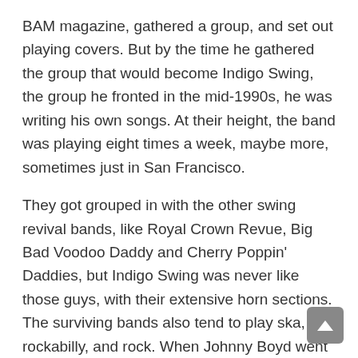BAM magazine, gathered a group, and set out playing covers. But by the time he gathered the group that would become Indigo Swing, the group he fronted in the mid-1990s, he was writing his own songs. At their height, the band was playing eight times a week, maybe more, sometimes just in San Francisco.
They got grouped in with the other swing revival bands, like Royal Crown Revue, Big Bad Voodoo Daddy and Cherry Poppin' Daddies, but Indigo Swing was never like those guys, with their extensive horn sections. The surviving bands also tend to play ska, rockabilly, and rock. When Johnny Boyd went solo, he wanted to focus on the crooning.
Sunday's performance features swing dance lessons and The Golden West Trio opening for Mr. Boyd.
The Swing Revival may revive again, but for Mr. Boyd it doesn't matter. He says he feels that initially it helps but in the end it may lock you into a style, where really crooning is not dependent on a scene.